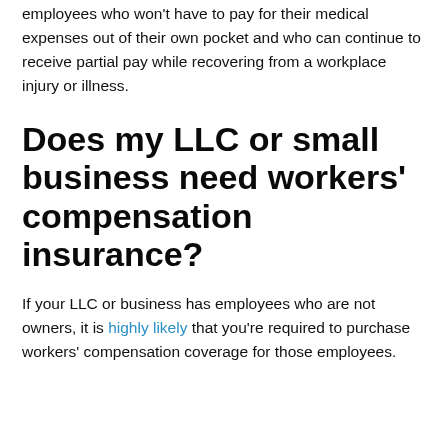employees who won't have to pay for their medical expenses out of their own pocket and who can continue to receive partial pay while recovering from a workplace injury or illness.
Does my LLC or small business need workers' compensation insurance?
If your LLC or business has employees who are not owners, it is highly likely that you're required to purchase workers' compensation coverage for those employees.